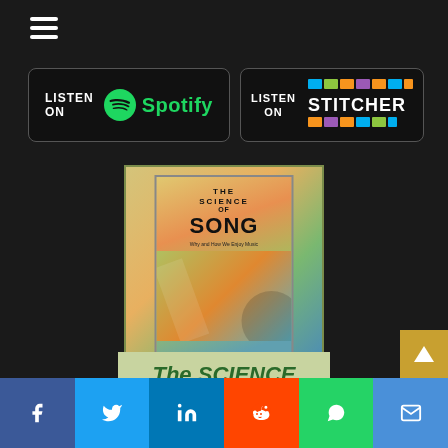[Figure (screenshot): Hamburger menu icon (three horizontal white lines) on dark background]
[Figure (logo): Listen on Spotify badge - black rounded rectangle with green Spotify logo and white text LISTEN ON Spotify]
[Figure (logo): Listen on Stitcher badge - black rounded rectangle with LISTEN ON text and colorful Stitcher logo]
[Figure (illustration): Book cover for The Science of Song, shown as a card with colorful abstract art. Below the book cover image, italic green text reads The SCIENCE]
[Figure (screenshot): Social media sharing bar at bottom with Facebook, Twitter, LinkedIn, Reddit, WhatsApp, Email buttons]